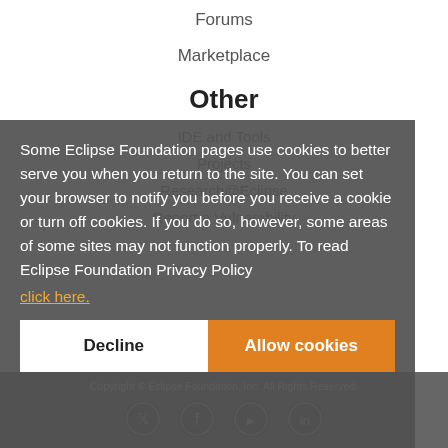Forums
Marketplace
Other
IDE and Tools
Projects
Research@Eclipse
Report a Vulnerability
Some Eclipse Foundation pages use cookies to better serve you when you return to the site. You can set your browser to notify you before you receive a cookie or turn off cookies. If you do so, however, some areas of some sites may not function properly. To read Eclipse Foundation Privacy Policy click here.
Copyright © Eclipse Foundation, Inc. All Rights Reserved.
Decline
Allow cookies